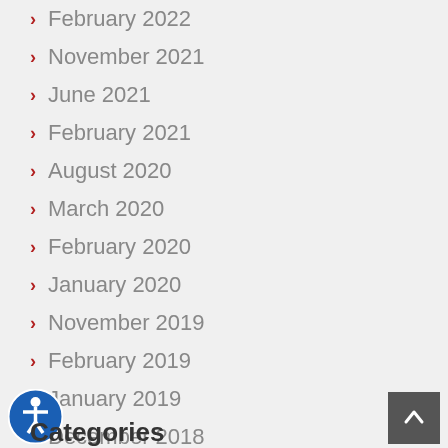February 2022
November 2021
June 2021
February 2021
August 2020
March 2020
February 2020
January 2020
November 2019
February 2019
January 2019
December 2018
August 2018
Categories